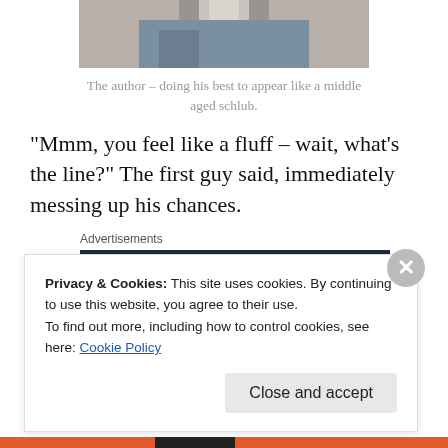[Figure (photo): Cropped photo of a person, showing lower body/jeans area]
The author – doing his best to appear like a middle aged schlub.
“Mmm, you feel like a fluff – wait, what’s the line?” The first guy said, immediately messing up his chances.
Advertisements
[Figure (other): Advertisement banner: Opinions. We all have them! with WordPress and Freshly logos]
“You feel like a plushie,” said the next guy who was 40 pounds heavier and 100% balder than me.
Privacy & Cookies: This site uses cookies. By continuing to use this website, you agree to their use.
To find out more, including how to control cookies, see here: Cookie Policy
Close and accept